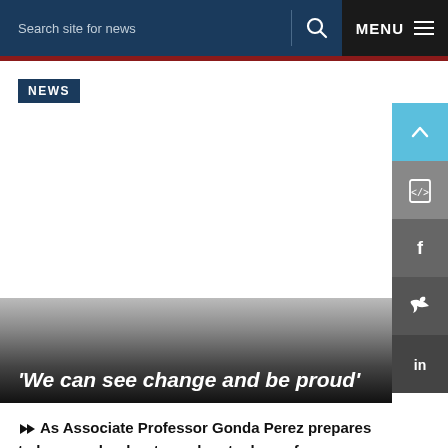Search site for news  MENU
NEWS
'We can see change and be proud'
As Associate Professor Gonda Perez prepares to hang up her boots as deputy dean of undergraduate